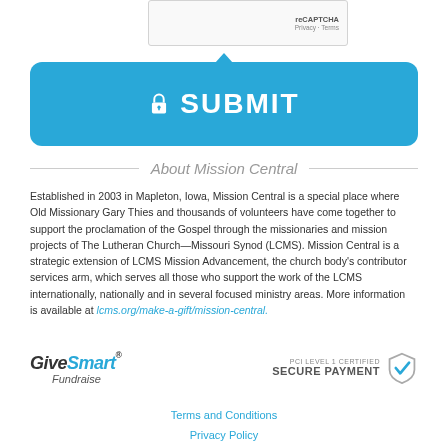[Figure (screenshot): reCAPTCHA widget box with 'reCAPTCHA' label and 'Privacy - Terms' links]
[Figure (other): Blue SUBMIT button with lock icon and upward pointing arrow]
About Mission Central
Established in 2003 in Mapleton, Iowa, Mission Central is a special place where Old Missionary Gary Thies and thousands of volunteers have come together to support the proclamation of the Gospel through the missionaries and mission projects of The Lutheran Church—Missouri Synod (LCMS). Mission Central is a strategic extension of LCMS Mission Advancement, the church body's contributor services arm, which serves all those who support the work of the LCMS internationally, nationally and in several focused ministry areas. More information is available at lcms.org/make-a-gift/mission-central.
[Figure (logo): GiveSmart Fundraise logo]
[Figure (logo): PCI Level 1 Certified Secure Payment shield logo]
Terms and Conditions
Privacy Policy